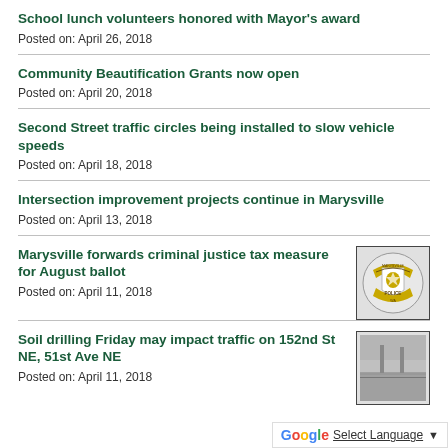School lunch volunteers honored with Mayor's award
Posted on: April 26, 2018
Community Beautification Grants now open
Posted on: April 20, 2018
Second Street traffic circles being installed to slow vehicle speeds
Posted on: April 18, 2018
Intersection improvement projects continue in Marysville
Posted on: April 13, 2018
Marysville forwards criminal justice tax measure for August ballot
Posted on: April 11, 2018
[Figure (illustration): Marysville Police badge/shield logo]
Soil drilling Friday may impact traffic on 152nd St NE, 51st Ave NE
Posted on: April 11, 2018
[Figure (photo): Street/drilling photo thumbnail]